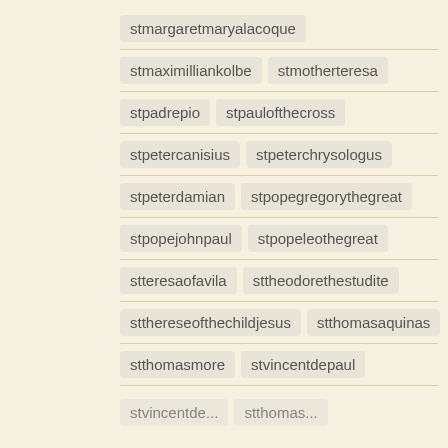stmargaretmaryalacoque
stmaximilliankolbe  stmotherteresa
stpadrepio  stpaulofthecross
stpetercanisius  stpeterchrysologus
stpeterdamian  stpopegregorythegreat
stpopejohnpaul  stpopeleothegreat
stteresaofavila  sttheodorethestudite
stthereseofthechildjesus  stthomasaquinas
stthomasmore  stvincentdepaul
Advertisements
[Figure (screenshot): Seamless food delivery advertisement banner with pizza image, Seamless logo in red, and ORDER NOW button]